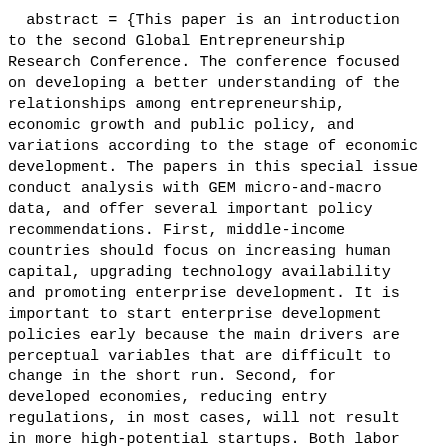abstract = {This paper is an introduction to the second Global Entrepreneurship Research Conference. The conference focused on developing a better understanding of the relationships among entrepreneurship, economic growth and public policy, and variations according to the stage of economic development. The papers in this special issue conduct analysis with GEM micro-and-macro data, and offer several important policy recommendations. First, middle-income countries should focus on increasing human capital, upgrading technology availability and promoting enterprise development. It is important to start enterprise development policies early because the main drivers are perceptual variables that are difficult to change in the short run. Second, for developed economies, reducing entry regulations, in most cases, will not result in more high-potential startups. Both labor market reform and deregulation of financial markets may be needed to support growth of high-performance ventures.},
  language = {en}